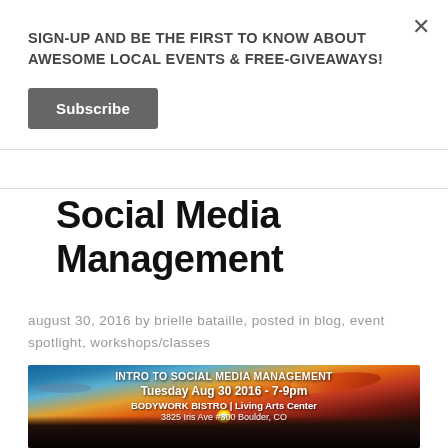SIGN-UP AND BE THE FIRST TO KNOW ABOUT AWESOME LOCAL EVENTS & FREE-GIVEAWAYS!
Subscribe
Social Media Management
august 30, 2016 by brielle bataille, posted in blog, event spotlight, workshops/classes
[Figure (photo): Promotional flyer for 'Intro to Social Media Management' event set against a dramatic sunset sky background with mountains. Text reads: INTRO TO SOCIAL MEDIA MANAGEMENT, Tuesday Aug 30 2016 - 7-9pm, BODYWORK BISTRO | Living Arts Center, 3825 Iris Ave #300 Boulder, CO]